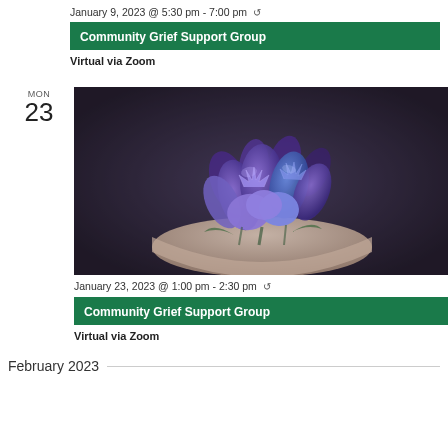January 9, 2023 @ 5:30 pm - 7:00 pm ↺
Community Grief Support Group
Virtual via Zoom
[Figure (photo): Purple hyacinth flowers in a white bowl on a dark background]
January 23, 2023 @ 1:00 pm - 2:30 pm ↺
Community Grief Support Group
Virtual via Zoom
February 2023